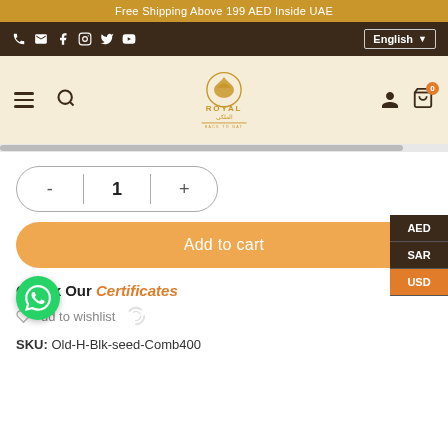Free Shipping Above 199 AED Inside UAE
[Figure (screenshot): Navigation bar with social media icons (phone, email, Facebook, Instagram, Twitter, YouTube) on left and English language selector on right, dark brown background]
[Figure (logo): Royal Back to Nat logo with crown/leaf icon, gold text in English and Arabic, on cream background. Hamburger menu and search icon on left; user and cart (0) icons on right.]
- 1 + (quantity selector)
Add to cart
Check Our Certificates
Add to wishlist
SKU: Old-H-Blk-seed-Comb400